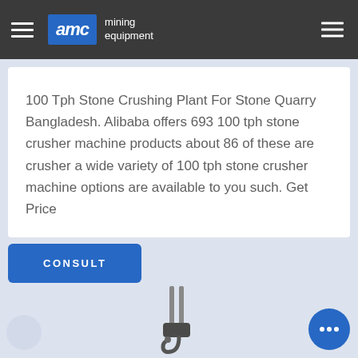AMC mining equipment
100 Tph Stone Crushing Plant For Stone Quarry Bangladesh. Alibaba offers 693 100 tph stone crusher machine products about 86 of these are crusher a wide variety of 100 tph stone crusher machine options are available to you such. Get Price
CONSULT
[Figure (photo): Bottom section showing a mechanical crane hook or lifting equipment component against a light blue-grey background, with a circular blue chat button in the bottom-right corner.]